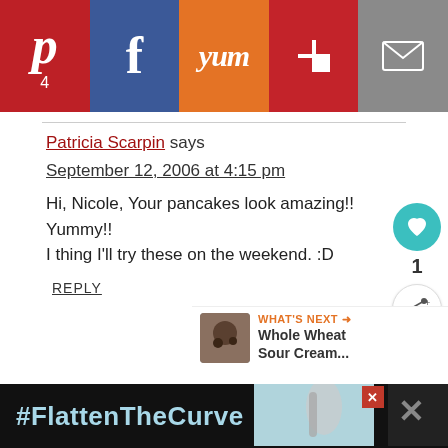[Figure (infographic): Social share bar with Pinterest (4 shares), Facebook, Yummly, Flipboard, and Email buttons]
Patricia Scarpin says
September 12, 2006 at 4:15 pm
Hi, Nicole, Your pancakes look amazing!! Yummy!! I thing I'll try these on the weekend. :D
REPLY
[Figure (infographic): WHAT'S NEXT arrow with Whole Wheat Sour Cream... title and cookie image]
Quinn says
[Figure (infographic): Ad banner: #FlattenTheCurve with hand washing image and close button]